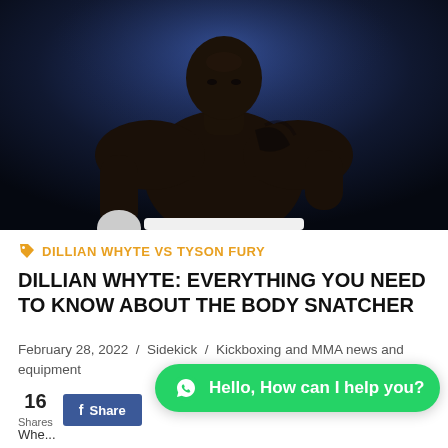[Figure (photo): Dillian Whyte shirtless boxer with white hand wraps, standing in boxing ring with dramatic blue lighting background]
🏷 DILLIAN WHYTE VS TYSON FURY
DILLIAN WHYTE: EVERYTHING YOU NEED TO KNOW ABOUT THE BODY SNATCHER
February 28, 2022 / Sidekick / Kickboxing and MMA news and equipment
16 Shares
Hello, How can I help you?
Whe...